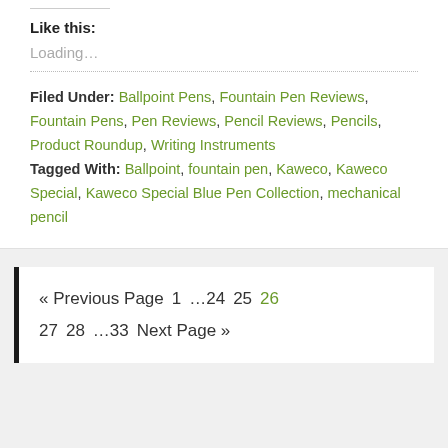Like this:
Loading…
Filed Under: Ballpoint Pens, Fountain Pen Reviews, Fountain Pens, Pen Reviews, Pencil Reviews, Pencils, Product Roundup, Writing Instruments
Tagged With: Ballpoint, fountain pen, Kaweco, Kaweco Special, Kaweco Special Blue Pen Collection, mechanical pencil
« Previous Page   1   …24   25   26   27   28   …33   Next Page »